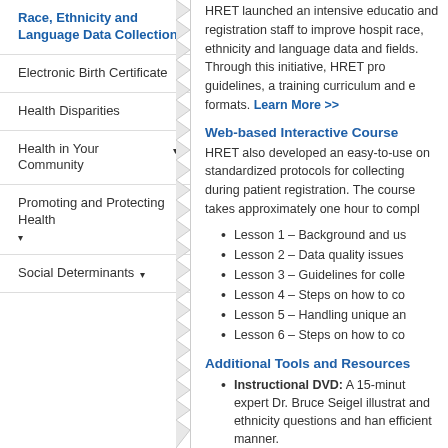Race, Ethnicity and Language Data Collection
Electronic Birth Certificate
Health Disparities
Health in Your Community ▾
Promoting and Protecting Health ▾
Social Determinants ▾
HRET launched an intensive education and registration staff to improve hospital race, ethnicity and language data and fields. Through this initiative, HRET pro guidelines, a training curriculum and ed formats. Learn More >>
Web-based Interactive Course
HRET also developed an easy-to-use c on standardized protocols for collecting during patient registration. The course takes approximately one hour to compl
Lesson 1 – Background and us
Lesson 2 – Data quality issues
Lesson 3 – Guidelines for colle
Lesson 4 – Steps on how to co
Lesson 5 – Handling unique an
Lesson 6 – Steps on how to co
Additional Tools and Resources
Instructional DVD: A 15-minut expert Dr. Bruce Seigel illustrat and ethnicity questions and han efficient manner.
Raising Trainer Map...